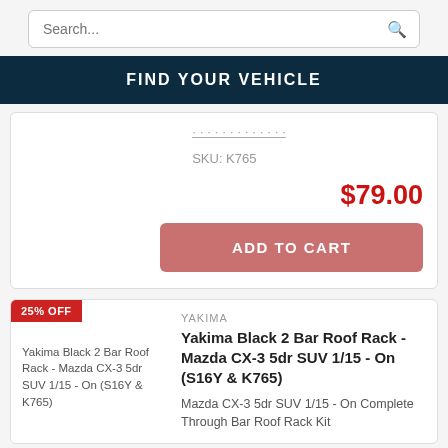[Figure (screenshot): Search bar with magnifying glass icon]
FIND YOUR VEHICLE
SKU: K765
$79.00
ADD TO CART
25% OFF
[Figure (photo): Yakima Black 2 Bar Roof Rack - Mazda CX-3 5dr SUV 1/15 - On (S16Y & K765) product image]
YAKIMA
Yakima Black 2 Bar Roof Rack - Mazda CX-3 5dr SUV 1/15 - On (S16Y & K765)
Mazda CX-3 5dr SUV 1/15 - On Complete Through Bar Roof Rack Kit